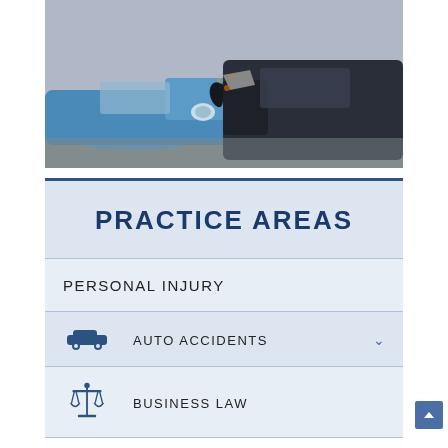[Figure (photo): Two cars in a collision — a blue car and a dark car with crumpled hoods pressed together]
PRACTICE AREAS
PERSONAL INJURY
AUTO ACCIDENTS
BUSINESS LAW